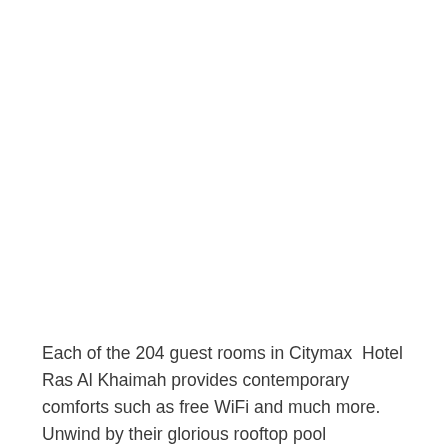Each of the 204 guest rooms in Citymax Hotel Ras Al Khaimah provides contemporary comforts such as free WiFi and much more. Unwind by their glorious rooftop pool